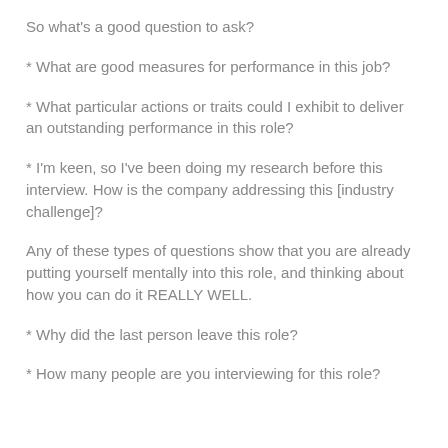So what's a good question to ask?
* What are good measures for performance in this job?
* What particular actions or traits could I exhibit to deliver an outstanding performance in this role?
* I'm keen, so I've been doing my research before this interview. How is the company addressing this [industry challenge]?
Any of these types of questions show that you are already putting yourself mentally into this role, and thinking about how you can do it REALLY WELL.
* Why did the last person leave this role?
* How many people are you interviewing for this role?